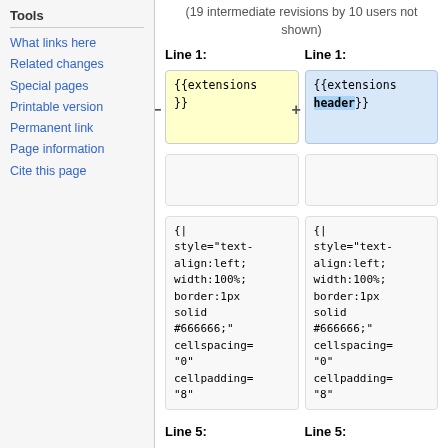Tools
What links here
Related changes
Special pages
Printable version
Permanent link
Page information
Cite this page
(19 intermediate revisions by 10 users not shown)
| Line 1: | Line 1: |
| --- | --- |
| {{extensions
}} | {{extensions
header}} |
|  |  |
| {|
style="text-
align:left;
width:100%;
border:1px
solid
#666666;"
cellspacing=
"0"
cellpadding=
"8" | {|
style="text-
align:left;
width:100%;
border:1px
solid
#666666;"
cellspacing=
"0"
cellpadding=
"8" |
Line 5:
Line 5: